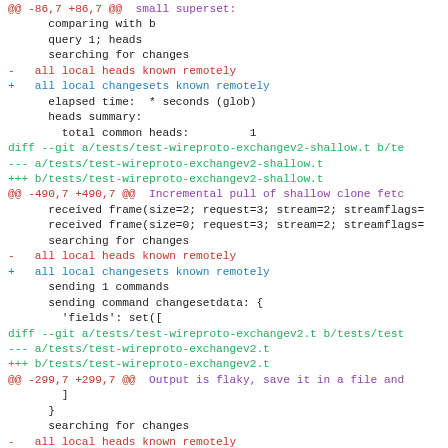diff view of test-wireproto-exchangev2-shallow.t and test-wireproto-exchangev2.t showing changes from 'all local heads known remotely' to 'all local changesets known remotely'